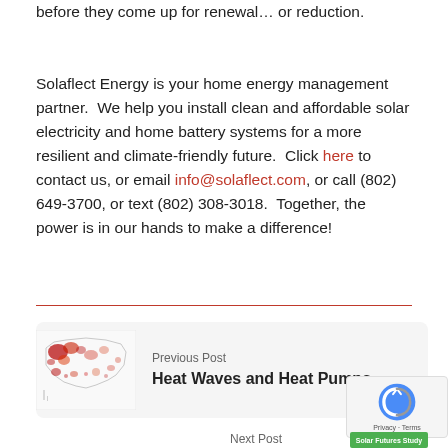before they come up for renewal… or reduction.
Solaflect Energy is your home energy management partner.  We help you install clean and affordable solar electricity and home battery systems for a more resilient and climate-friendly future.  Click here to contact us, or email info@solaflect.com, or call (802) 649-3700, or text (802) 308-3018.  Together, the power is in our hands to make a difference!
[Figure (other): Horizontal red divider line]
[Figure (other): Previous Post card with a red heat map of the United States showing heat wave data, titled 'Heat Waves and Heat Pumps']
Previous Post
Heat Waves and Heat Pumps
Next Post